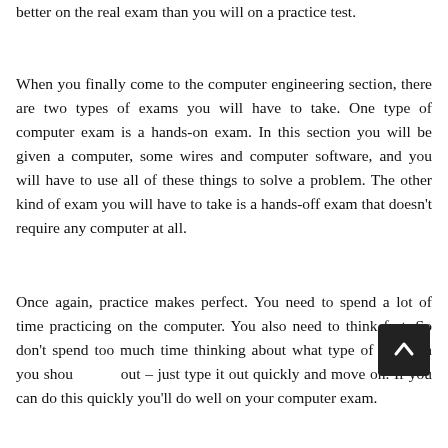better on the real exam than you will on a practice test.
When you finally come to the computer engineering section, there are two types of exams you will have to take. One type of computer exam is a hands-on exam. In this section you will be given a computer, some wires and computer software, and you will have to use all of these things to solve a problem. The other kind of exam you will have to take is a hands-off exam that doesn't require any computer at all.
Once again, practice makes perfect. You need to spend a lot of time practicing on the computer. You also need to think fast. So don't spend too much time thinking about what type of question you should type out – just type it out quickly and move on. If you can do this quickly you'll do well on your computer exam.